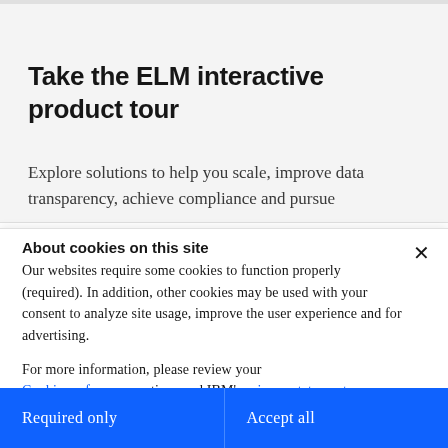Take the ELM interactive product tour
Explore solutions to help you scale, improve data transparency, achieve compliance and pursue
About cookies on this site
Our websites require some cookies to function properly (required). In addition, other cookies may be used with your consent to analyze site usage, improve the user experience and for advertising.
For more information, please review your Cookie preferences options and IBM's privacy statement.
Required only
Accept all